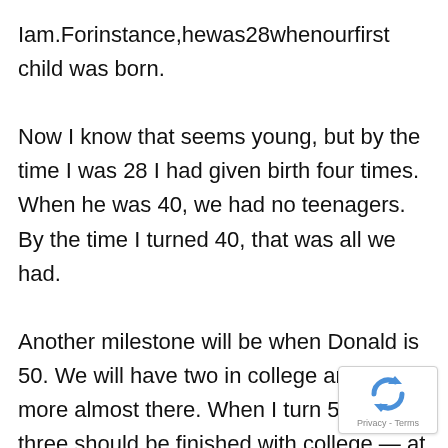Iam.Forinstance,hewas28whenourfirst child was born.
Now I know that seems young, but by the time I was 28 I had given birth four times. When he was 40, we had no teenagers. By the time I turned 40, that was all we had.
Another milestone will be when Donald is 50. We will have two in college and one more almost there. When I turn 50, all three should be finished with college — at least we hope so.
Most of this teasing has been done in innocent fun. I will confess I have at times become slightly aggravated by my “aging” husband’s need to find his glasses to read small print –
[Figure (logo): reCAPTCHA badge with spinning arrow logo and 'Privacy - Terms' text]